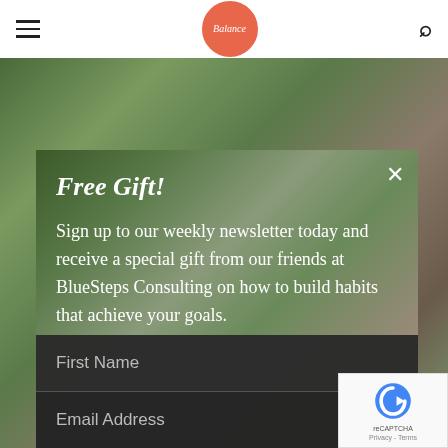Balance (logo)
[Figure (photo): Blurred background photo of green tropical houseplants and earthy tones, serving as the backdrop for a newsletter signup modal overlay.]
Free Gift!
Sign up to our weekly newsletter today and receive a special gift from our friends at BlueSteps Consulting on how to build habits that achieve your goals.
First Name
Email Address